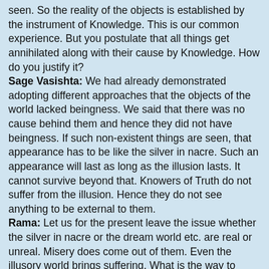seen.  So the reality of the objects is established by the instrument of Knowledge.  This is our common experience.  But you postulate that all things get annihilated along with their cause by Knowledge.  How do you justify it? Sage Vasishta:  We had already demonstrated adopting different approaches that the objects of the world lacked beingness.  We said that there was no cause behind them and hence they did not have beingness.  If such non-existent things are seen, that appearance has to be like the silver in nacre.  Such an appearance will last as long as the illusion lasts.  It cannot survive beyond that.  Knowers of Truth do not suffer from the illusion.  Hence they do not see anything to be external to them. Rama:  Let us for the present leave the issue whether the silver in nacre or the dream world etc. are real or unreal.  Misery does come out of them.  Even the illusory world brings suffering.  What is the way to avoid the sorrow? [Dialog to be continued in Part 3/3.]
Ramesam Vemuri at 4:39 PM    2 comments:
Share